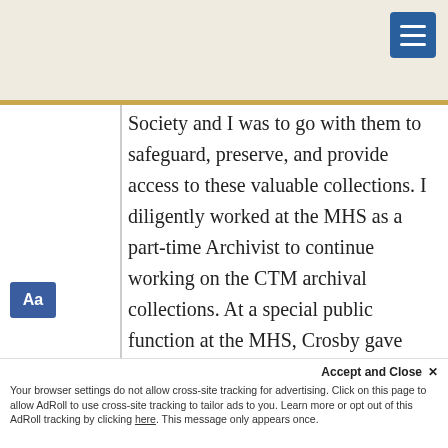Society and I was to go with them to safeguard, preserve, and provide access to these valuable collections. I diligently worked at the MHS as a part-time Archivist to continue working on the CTM archival collections. At a special public function at the MHS, Crosby gave special recognition to me for my outstanding work on the CTM collections. And it was at that time the completed written work was entered into THE NATIONAL REGISTER. Crosby was most proud of this accomplishment. He recognized that my dedication and contribution to the Archives field was immeasurable. Part 2
Accept and Close ✕
Your browser settings do not allow cross-site tracking for advertising. Click on this page to allow AdRoll to use cross-site tracking to tailor ads to you. Learn more or opt out of this AdRoll tracking by clicking here. This message only appears once.